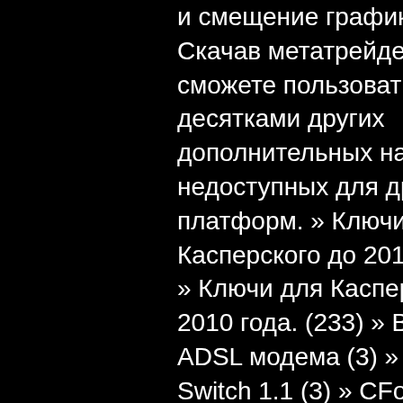и смещение графиков. Скачав метатрейдер, вы сможете пользоваться десятками других дополнительных настроек, недоступных для других платформ. » Ключи для Касперского до 2011 года (47) » Ключи для Касперского до 2010 года. (233) » Взлом ADSL модема (3) » LPT Switch 1.1 (3) » CFosSpeed 2009 Multilanguage - Ускорение интернета на максимум (5) » Onspeed v6.0.9 b214 + Crack (5) » Взлом odnoklassniki.ru (19) » ABBYY Fine Reader 10.0 + crack (8) » Новые ключи для Касперского от 4 до 9